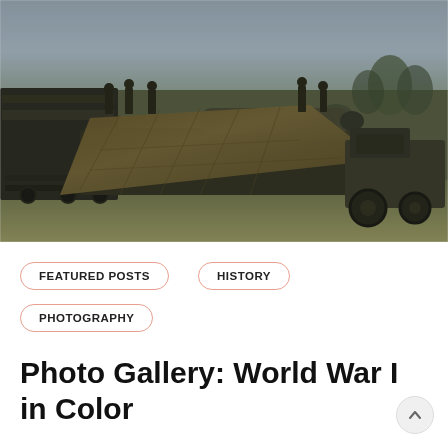[Figure (photo): A colorized historical photograph from World War I showing a large artillery cannon or railway gun covered with camouflage netting, with soldiers standing on the platform. A military truck is visible on the right side. The scene is set on an open field.]
FEATURED POSTS
HISTORY
PHOTOGRAPHY
Photo Gallery: World War I in Color